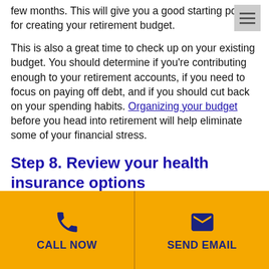few months. This will give you a good starting point for creating your retirement budget.
This is also a great time to check up on your existing budget. You should determine if you're contributing enough to your retirement accounts, if you need to focus on paying off debt, and if you should cut back on your spending habits. Organizing your budget before you head into retirement will help eliminate some of your financial stress.
Step 8. Review your health insurance options
Obtaining affordable health care coverage in
CALL NOW
SEND EMAIL